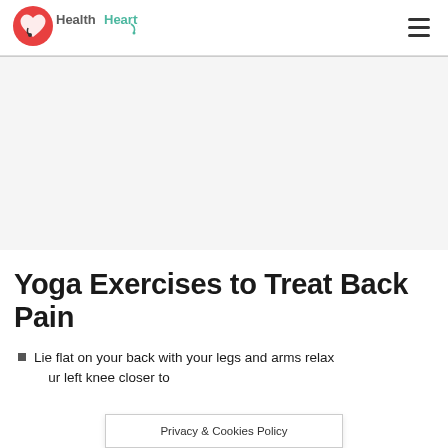HealthHearty
[Figure (other): HealthHearty website logo with stylized heart and stethoscope icon in red and teal green text]
Yoga Exercises to Treat Back Pain
Lie flat on your back with your legs and arms relaxed... your left knee closer to
Privacy & Cookies Policy